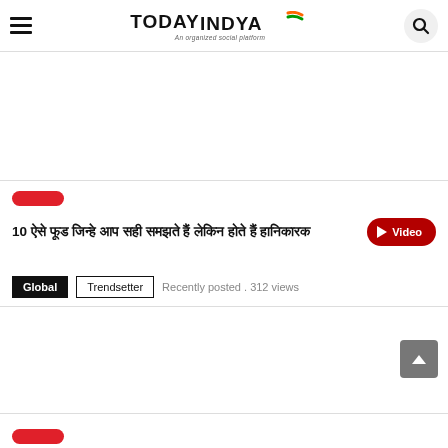TodayIndya – An organized social platform
10 ऐसे फूड जिन्हे आप सही समझते हैं लेकिन होते हैं हानिकारक
Global  Trendsetter  Recently posted . 312 views